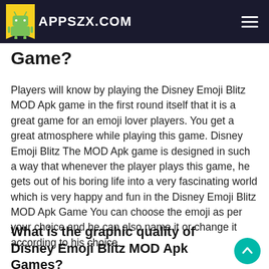APPSZX.COM
Game?
Players will know by playing the Disney Emoji Blitz MOD Apk game in the first round itself that it is a great game for an emoji lover players. You get a great atmosphere while playing this game. Disney Emoji Blitz The MOD Apk game is designed in such a way that whenever the player plays this game, he gets out of his boring life into a very fascinating world which is very happy and fun in the Disney Emoji Blitz MOD Apk Game You can choose the emoji as per your choice and he can also name it or change it according to his choice.
What is the graphic quality of Disney Emoji Blitz MOD Apk Games?